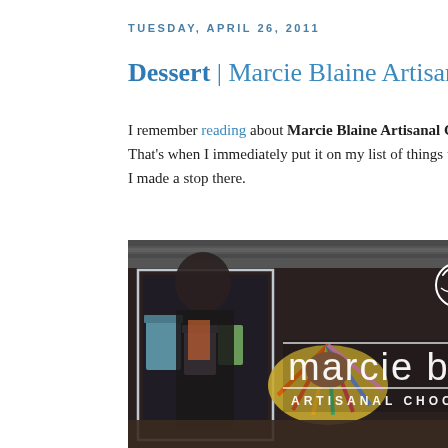TUESDAY, APRIL 26, 2011
Dessert | Marcie Blaine Artisanal Chocolates
I remember reading about Marcie Blaine Artisanal Chocolates of Philadelphia. That's when I immediately put it on my list of things to do when I visit Dan. I made a stop there.
[Figure (photo): Storefront window of Marcie Blaine Artisanal Chocolates showing the shop sign with 'marcie bl...' and 'ARTISANAL CHOCOLATES' text, colorful bags and merchandise visible through the window, with reflections in the glass]